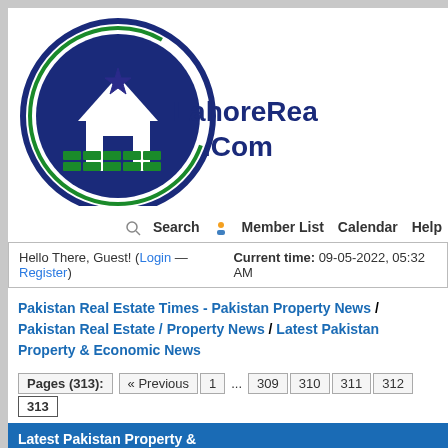[Figure (logo): LahoreRealEstate.Com logo — circular logo with blue/green house icon and star, with text 'LahoreRealEstate .Com']
Search  Member List  Calendar  Help
Hello There, Guest! (Login — Register)  Current time: 09-05-2022, 05:32 AM
Pakistan Real Estate Times - Pakistan Property News / Pakistan Real Estate / Property News / Latest Pakistan Property & Economic News
Pages (313): « Previous  1  ...  309  310  311  312  313
| Thread / Author | Replies | Views | Rating | Last Post [asc |
| --- | --- | --- | --- | --- |
|  |  |  |  |  |